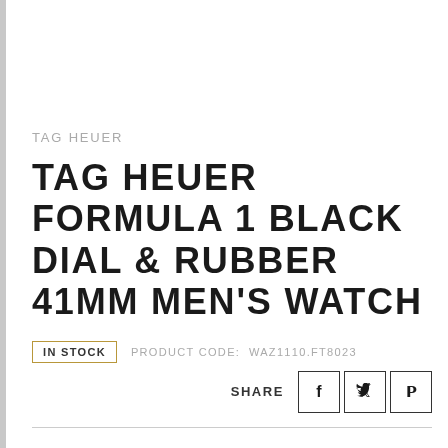TAG HEUER
TAG HEUER FORMULA 1 BLACK DIAL & RUBBER 41MM MEN'S WATCH
IN STOCK   PRODUCT CODE: WAZ1110.FT8023
SHARE
£1,050.00